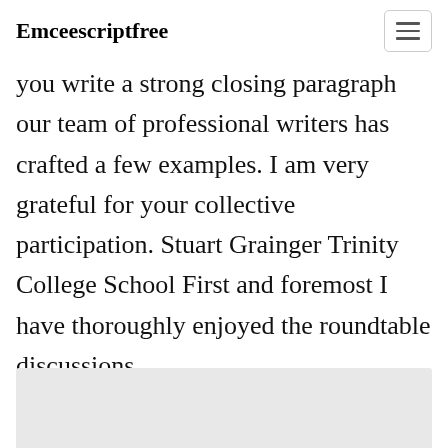Emceescriptfree
you write a strong closing paragraph our team of professional writers has crafted a few examples. I am very grateful for your collective participation. Stuart Grainger Trinity College School First and foremost I have thoroughly enjoyed the roundtable discussions.
[Figure (other): Gray rectangular area at the bottom of the page, partially visible]